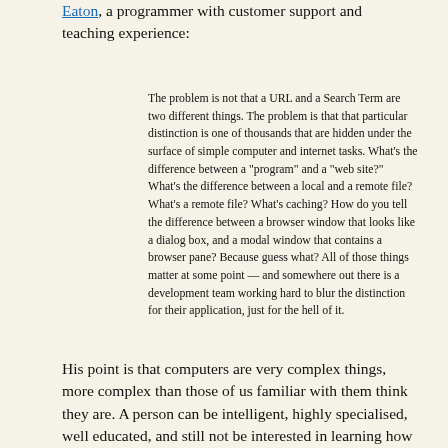Eaton, a programmer with customer support and teaching experience:
The problem is not that a URL and a Search Term are two different things. The problem is that that particular distinction is one of thousands that are hidden under the surface of simple computer and internet tasks. What's the difference between a "program" and a "web site?" What's the difference between a local and a remote file? What's a remote file? What's caching? How do you tell the difference between a browser window that looks like a dialog box, and a modal window that contains a browser pane? Because guess what? All of those things matter at some point — and somewhere out there is a development team working hard to blur the distinction for their application, just for the hell of it.
His point is that computers are very complex things, more complex than those of us familiar with them think they are. A person can be intelligent, highly specialised, well educated, and still not be interested in learning how to properly use a computer. Why